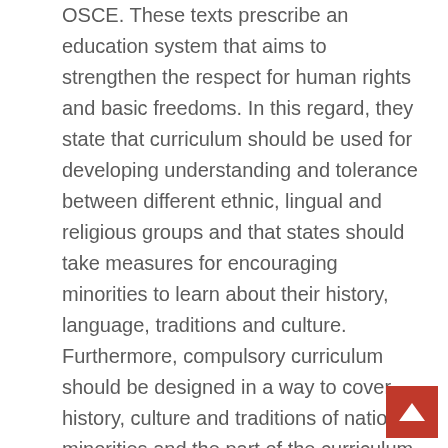OSCE. These texts prescribe an education system that aims to strengthen the respect for human rights and basic freedoms. In this regard, they state that curriculum should be used for developing understanding and tolerance between different ethnic, lingual and religious groups and that states should take measures for encouraging minorities to learn about their history, language, traditions and culture. Furthermore, compulsory curriculum should be designed in a way to cover history, culture and traditions of national minorities and the part of the curriculum about the minorities should be developed with the active participation of the institutions that represent the minorities in question. They also state that stereotypes and prejudices in history textbooks should be removed and critical historical thinking should be encouraged. All of our recommendations are based on these standards with which Turkey is obliged to comply.